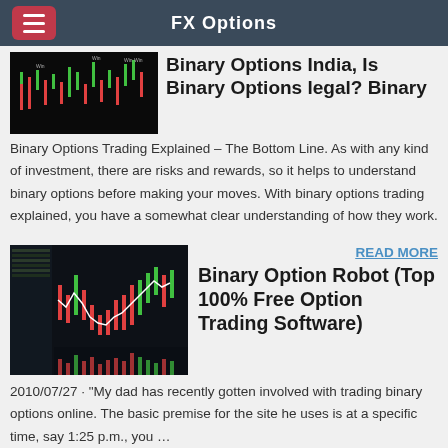FX Options
Binary Options India, Is Binary Options legal? Binary
Binary Options Trading Explained – The Bottom Line. As with any kind of investment, there are risks and rewards, so it helps to understand binary options before making your moves. With binary options trading explained, you have a somewhat clear understanding of how they work.
READ MORE
Binary Option Robot (Top 100% Free Option Trading Software)
2010/07/27 · "My dad has recently gotten involved with trading binary options online. The basic premise for the site he uses is at a specific time, say 1:25 p.m., you …